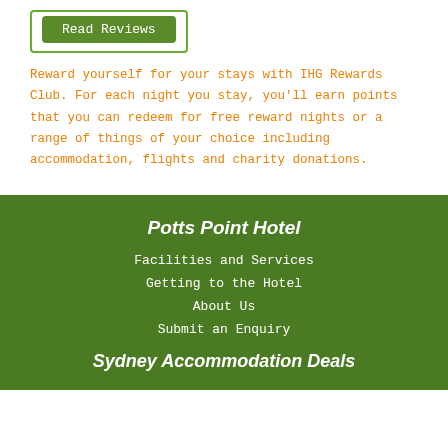Read Reviews
Reward yourself for your stays with IHG Rewards Club. For each night you stay, you'll earn points that you can redeem for free reward nights or a range of things of your choice including accommodation, flights and charity donations.
Potts Point Hotel
Facilities and Services
Getting to the Hotel
About Us
Submit an Enquiry
Sydney Accommodation Deals